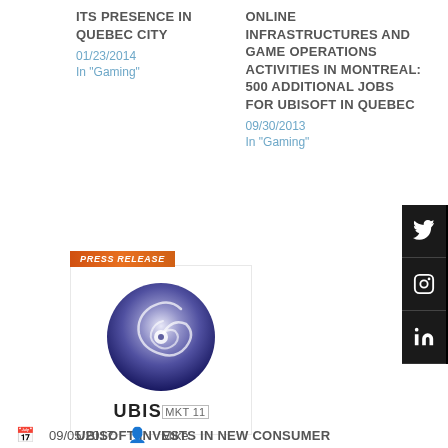ITS PRESENCE IN QUEBEC CITY
01/23/2014
In "Gaming"
ONLINE INFRASTRUCTURES AND GAME OPERATIONS ACTIVITIES IN MONTREAL: 500 ADDITIONAL JOBS FOR UBISOFT IN QUEBEC
09/30/2013
In "Gaming"
[Figure (logo): Ubisoft press release logo with orange 'Press Release' banner and Ubisoft swirl logo above UBISOFT text]
UBISOFT INVESTS IN NEW CONSUMER RELATIONSHIP CENTER
03/13/2015
In "Gaming"
09/05/2017  Mike